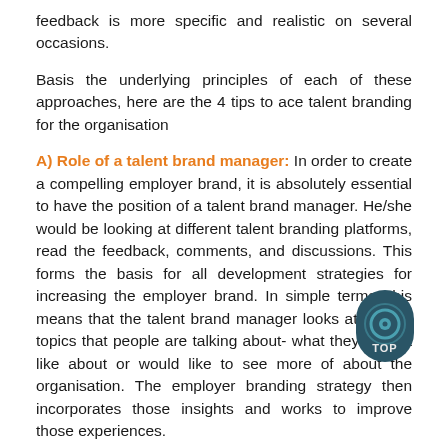feedback is more specific and realistic on several occasions.
Basis the underlying principles of each of these approaches, here are the 4 tips to ace talent branding for the organisation
A) Role of a talent brand manager: In order to create a compelling employer brand, it is absolutely essential to have the position of a talent brand manager. He/she would be looking at different talent branding platforms, read the feedback, comments, and discussions. This forms the basis for all development strategies for increasing the employer brand. In simple terms, this means that the talent brand manager looks at the top topics that people are talking about- what they did not like about or would like to see more of about the organisation. The employer branding strategy then incorporates those insights and works to improve those experiences.